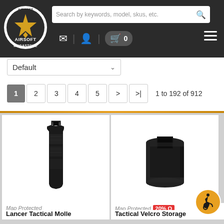[Figure (logo): Airsoft Megastore circular logo with star and crossed guns]
Search by keywords, model, skus, etc.
Default
1 to 192 of 912
[Figure (photo): Lancer Tactical Molle product photo - black magazine grip]
[Figure (photo): Tactical Velcro Storage product photo - black cylindrical holder]
Map Protected
Lancer Tactical Molle
Map Protected
20% Off badge
Tactical Velcro Storage